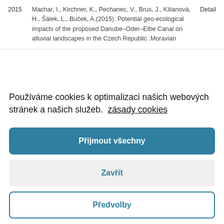| Year | Citation | Detail |
| --- | --- | --- |
| 2015 | Machar, I., Kirchner, K., Pechanec, V., Brus, J., Kilianová, H., Šálek, L., Buček, A.(2015): Potential geo-ecological impacts of the proposed Danube–Oder–Elbe Canal on alluvial landscapes in the Czech Republic .Moravian | Detail |
Používáme cookies k optimalizaci našich webových stránek a našich služeb. zásady cookies
Přijmout všechny
Zavřít
Předvolby
5, Issue 1 Journal of Maps, 54-67. DOI:10.1080/17445647.2012.779829